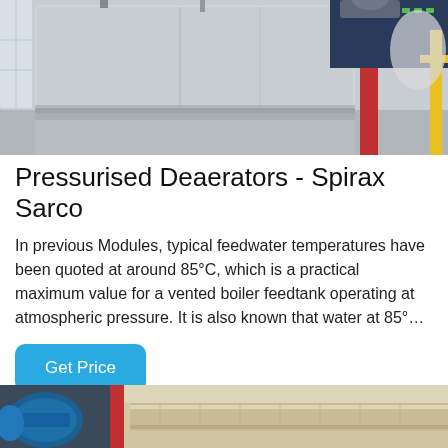[Figure (photo): Industrial pressurised deaerator equipment in a factory/plant setting, showing a large blue/grey machine with control panel and red support column]
Pressurised Deaerators - Spirax Sarco
In previous Modules, typical feedwater temperatures have been quoted at around 85°C, which is a practical maximum value for a vented boiler feedtank operating at atmospheric pressure. It is also known that water at 85°...
[Figure (other): Button labeled 'Get Price' in blue rounded rectangle]
[Figure (photo): Partial view of industrial piping equipment, showing blue valve components on left and beige/cream insulated pipes on right]